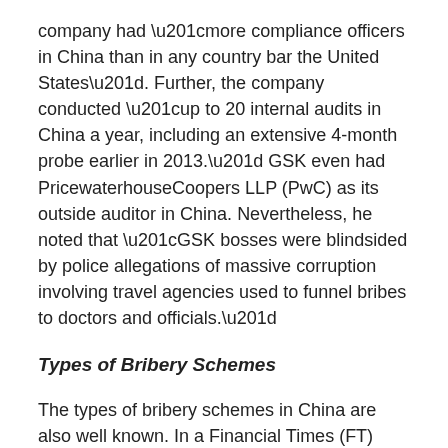company had “more compliance officers in China than in any country bar the United States”. Further, the company conducted “up to 20 internal audits in China a year, including an extensive 4-month probe earlier in 2013.” GSK even had PricewaterhouseCoopers LLP (PwC) as its outside auditor in China. Nevertheless, he noted that “GSK bosses were blindsided by police allegations of massive corruption involving travel agencies used to funnel bribes to doctors and officials.”
Types of Bribery Schemes
The types of bribery schemes in China are also well known. In a Financial Times (FT) article, entitled “Bribery built into the fabric of Chinese healthcare system”, reporters Jamil Anderlini and Tom Mitchell wrote about the ‘nuts and bolts’ of how bribery occurs in the health care